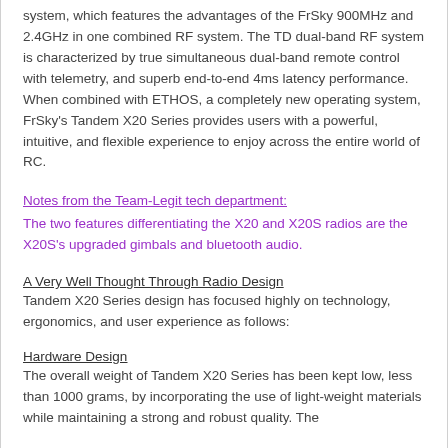system, which features the advantages of the FrSky 900MHz and 2.4GHz in one combined RF system. The TD dual-band RF system is characterized by true simultaneous dual-band remote control with telemetry, and superb end-to-end 4ms latency performance. When combined with ETHOS, a completely new operating system, FrSky's Tandem X20 Series provides users with a powerful, intuitive, and flexible experience to enjoy across the entire world of RC.
Notes from the Team-Legit tech department:
The two features differentiating the X20 and X20S radios are the X20S's upgraded gimbals and bluetooth audio.
A Very Well Thought Through Radio Design
Tandem X20 Series design has focused highly on technology, ergonomics, and user experience as follows:
Hardware Design
The overall weight of Tandem X20 Series has been kept low, less than 1000 grams, by incorporating the use of light-weight materials while maintaining a strong and robust quality. The